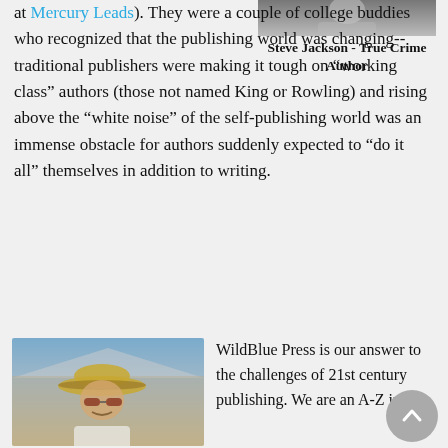[Figure (photo): Partial photo of a person at top right corner, cropped]
Steve Jackson - True Crime Author
at Mercury Leads). They were a couple of college buddies who recognized that the publishing world was changing--traditional publishers were making it tough on "working class" authors (those not named King or Rowling) and rising above the "white noise" of the self-publishing world was an immense obstacle for authors suddenly expected to "do it all" themselves in addition to writing.
[Figure (photo): Man wearing a wide-brimmed straw hat and sunglasses, outdoors at what appears to be an event]
WildBlue Press is our answer to the challenges of 21st century publishing. We are an A-Z indie